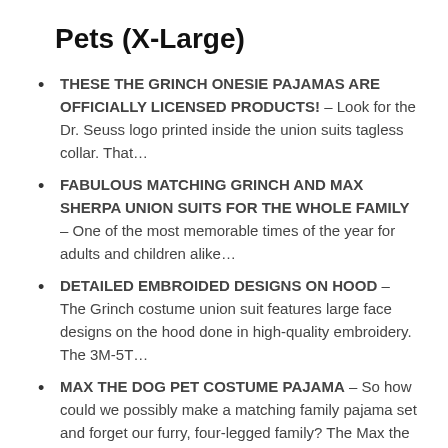Pets (X-Large)
THESE THE GRINCH ONESIE PAJAMAS ARE OFFICIALLY LICENSED PRODUCTS! – Look for the Dr. Seuss logo printed inside the union suits tagless collar. That…
FABULOUS MATCHING GRINCH AND MAX SHERPA UNION SUITS FOR THE WHOLE FAMILY – One of the most memorable times of the year for adults and children alike…
DETAILED EMBROIDED DESIGNS ON HOOD – The Grinch costume union suit features large face designs on the hood done in high-quality embroidery. The 3M-5T…
MAX THE DOG PET COSTUME PAJAMA – So how could we possibly make a matching family pajama set and forget our furry, four-legged family? The Max the Dog…